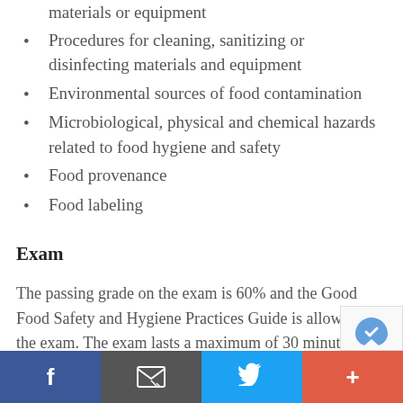materials or equipment
Procedures for cleaning, sanitizing or disinfecting materials and equipment
Environmental sources of food contamination
Microbiological, physical and chemical hazards related to food hygiene and safety
Food provenance
Food labeling
Exam
The passing grade on the exam is 60% and the Good Food Safety and Hygiene Practices Guide is allowed on the exam. The exam lasts a maximum of 30 minutes.
If you fail the exam, you may request a retest within